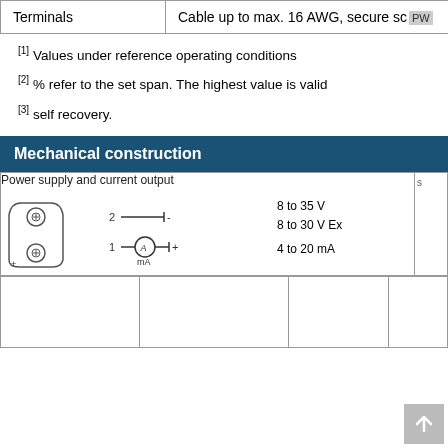| Terminals | Cable up to max. 16 AWG, secure sc... |
| --- | --- |
[1] Values under reference operating conditions
[2] % refer to the set span. The highest value is valid
[3] self recovery.
Mechanical construction
| Power supply and current output |  |
| --- | --- |
| Diagram: 2-wire connection showing terminals 1 and 2, with labels 8 to 35 V / 8 to 30 V Ex / 4 to 20 mA |  |
|  |  |  |  |